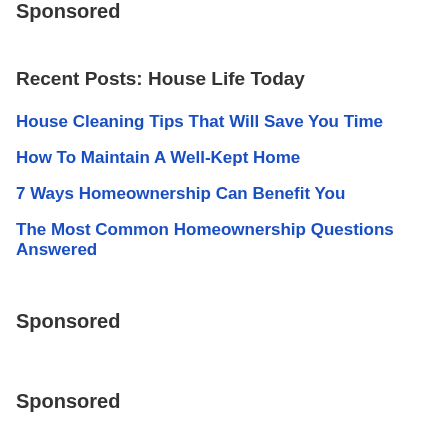Sponsored
Recent Posts: House Life Today
House Cleaning Tips That Will Save You Time
How To Maintain A Well-Kept Home
7 Ways Homeownership Can Benefit You
The Most Common Homeownership Questions Answered
Sponsored
Sponsored